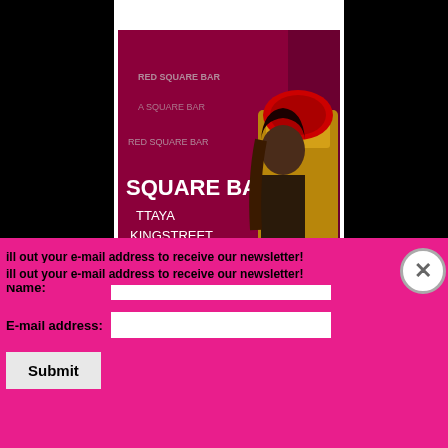[Figure (photo): Woman in ornate costume seated on a gold throne-like chair in front of a Red Square Bar backdrop with text 'SQUARE BAR TTAYA KINGSTREET RED SQUARE BAR' visible on banners]
Fill out your e-mail address to receive our newsletter!
Name:
E-mail address:
Submit